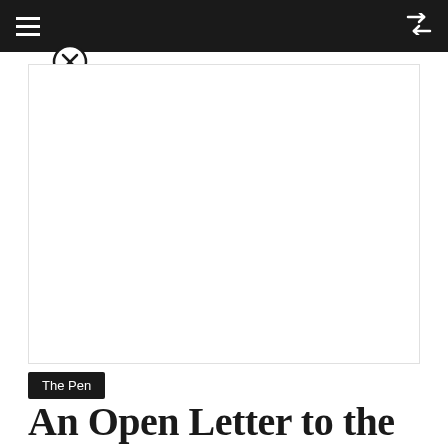≡  ⇌
[Figure (other): Close/dismiss button (X in circle) overlapping the top navigation bar]
[Figure (photo): Large white/blank image area representing an article hero image]
The Pen
An Open Letter to the